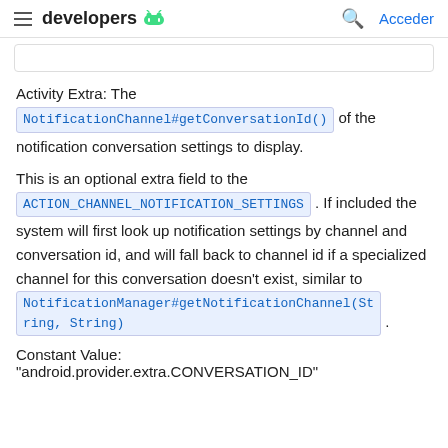≡ developers 🤖  🔍  Acceder
Activity Extra: The NotificationChannel#getConversationId() of the notification conversation settings to display.
This is an optional extra field to the ACTION_CHANNEL_NOTIFICATION_SETTINGS . If included the system will first look up notification settings by channel and conversation id, and will fall back to channel id if a specialized channel for this conversation doesn't exist, similar to NotificationManager#getNotificationChannel(String, String) .
Constant Value:
"android.provider.extra.CONVERSATION_ID"